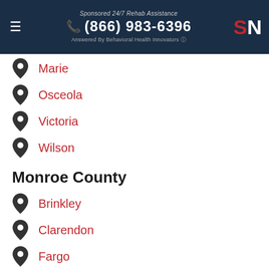Sponsored 24/7 Rehab Assistance (866) 983-6396 Answered By Behavioral Health Innovators
Marie
Osceola
Victoria
Wilson
Monroe County
Brinkley
Clarendon
Fargo
Holly Grove